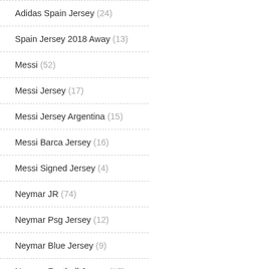Adidas Spain Jersey (24)
Spain Jersey 2018 Away (13)
Messi (52)
Messi Jersey (17)
Messi Jersey Argentina (15)
Messi Barca Jersey (16)
Messi Signed Jersey (4)
Neymar JR (74)
Neymar Psg Jersey (12)
Neymar Blue Jersey (9)
Neymar Football Jersey (15)
Neymar Jersey (16)
Neymar Jr Jersey (22)
Ronaldo (37)
Ronaldo Jersey (16)
Ronaldo Nike Jersey (8)